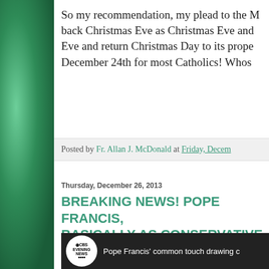So my recommendation, my plead to the M back Christmas Eve as Christmas Eve and Eve and return Christmas Day to its prope December 24th for most Catholics! Whos
Posted by Fr. Allan J. McDonald at Friday, Decem
Thursday, December 26, 2013
BREAKING NEWS! POPE FRANCIS, BASICALLY AS CONSERVATIVE AS
[Figure (screenshot): CBS Evening News video thumbnail showing Pope Francis with text 'Pope Francis' common touch drawing c']